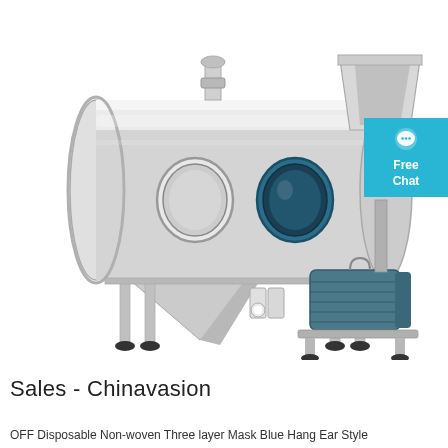[Figure (photo): Industrial stainless steel horizontal cylindrical sieving/screening machine with motor, hopper, two circular inspection windows, support legs, and a Free Chat widget badge in blue on the right side.]
Sales - Chinavasion
OFF Disposable Non-woven Three layer Mask Blue Hang Ear Style